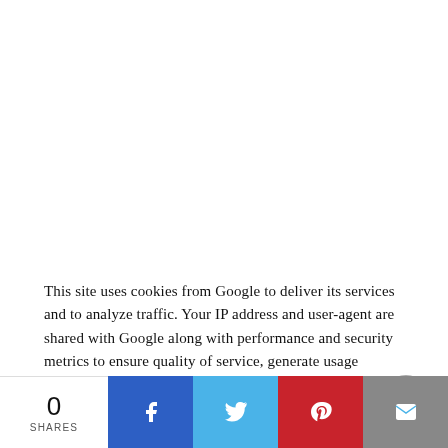This site uses cookies from Google to deliver its services and to analyze traffic. Your IP address and user-agent are shared with Google along with performance and security metrics to ensure quality of service, generate usage statistics, and to detect and address abuse.
0 SHARES | Facebook | Twitter | Pinterest | Email